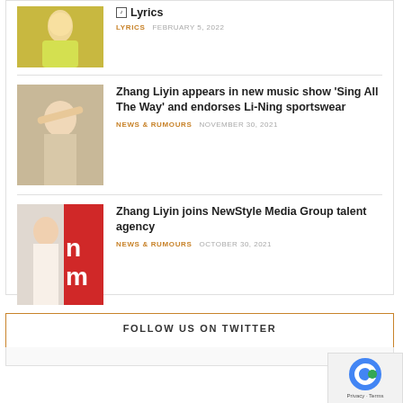[Figure (photo): Thumbnail photo of woman in yellow/green outfit]
Lyrics
LYRICS   FEBRUARY 5, 2022
[Figure (photo): Thumbnail photo of man shielding eyes with hand, neutral/beige background]
Zhang Liyin appears in new music show 'Sing All The Way' and endorses Li-Ning sportswear
NEWS & RUMOURS   NOVEMBER 30, 2021
[Figure (photo): Thumbnail photo of woman smiling, with red background showing partial text 'n' and 'm']
Zhang Liyin joins NewStyle Media Group talent agency
NEWS & RUMOURS   OCTOBER 30, 2021
FOLLOW US ON TWITTER